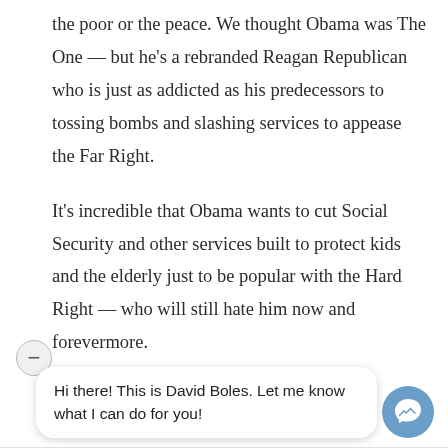the poor or the peace. We thought Obama was The One — but he's a rebranded Reagan Republican who is just as addicted as his predecessors to tossing bombs and slashing services to appease the Far Right.
It's incredible that Obama wants to cut Social Security and other services built to protect kids and the elderly just to be popular with the Hard Right — who will still hate him now and forevermore.
Hi there! This is David Boles. Let me know what I can do for you!